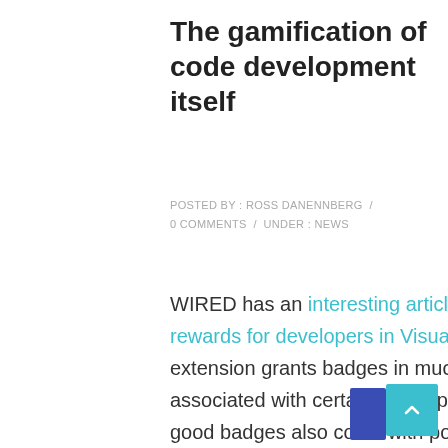The gamification of code development itself
POSTED BY : ROSS DANENNBERG / 0 COMMENTS / UNDER : NEWS
WIRED has an interesting article regarding Microsoft's inclusion of badges as rewards for developers in Visual Studio. As developers write code, an Achievements extension grants badges in much the same way a video game does. Badges are associated with certain accomplishments — both good and bad — and many of the good badges also come with points. The hope is that these virtual rewards will spark competition, and